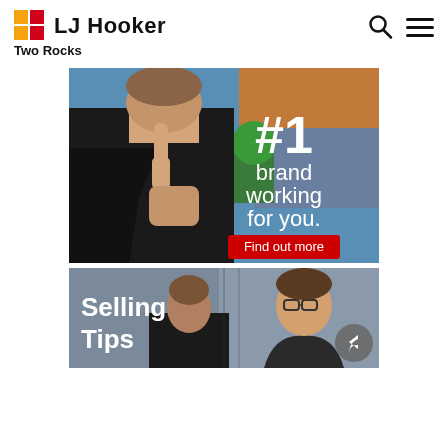LJ Hooker Two Rocks
[Figure (illustration): Promotional banner for LJ Hooker showing a person in black suit pointing one finger upward with a house in background. Text overlay reads '#1 brand working for you.' with a red 'Find out more' button.]
[Figure (illustration): Thumbnail image showing 'Selling Tips' text overlay on left, with a smiling man wearing glasses on the right side of the image.]